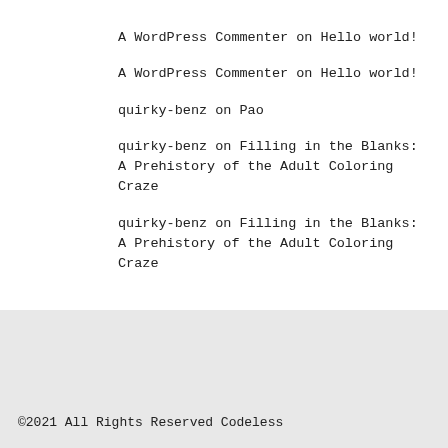A WordPress Commenter on Hello world!
A WordPress Commenter on Hello world!
quirky-benz on Pao
quirky-benz on Filling in the Blanks: A Prehistory of the Adult Coloring Craze
quirky-benz on Filling in the Blanks: A Prehistory of the Adult Coloring Craze
©2021 All Rights Reserved Codeless